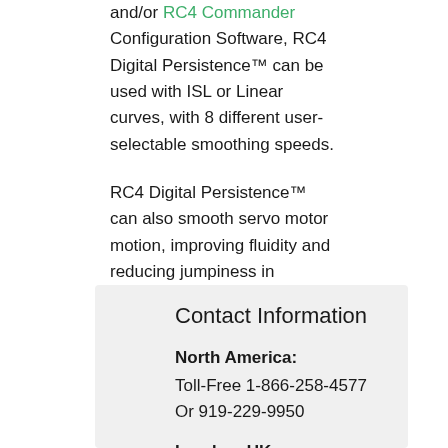and/or RC4 Commander Configuration Software, RC4 Digital Persistence™ can be used with ISL or Linear curves, with 8 different user-selectable smoothing speeds.
RC4 Digital Persistence™ can also smooth servo motor motion, improving fluidity and reducing jumpiness in animatronic and puppetry applications.
Contact Information
North America: Toll-Free 1-866-258-4577 Or 919-229-9950
London, UK: +44 020 3289 8765